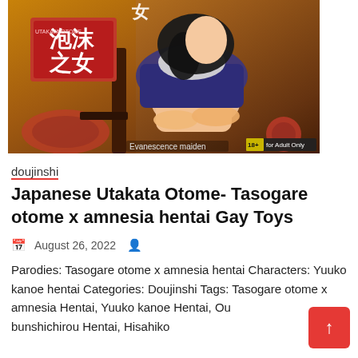[Figure (illustration): Manga/doujinshi cover art showing an anime female character seated, wearing a dark blue/purple outfit, with Japanese text and red label box reading '泡沫之女 UTAKATA OTOME'. Bottom left text reads 'Evanescence maiden', bottom right shows 'for Adult Only' label on dark background. Warm orange-brown atmospheric background.]
doujinshi
Japanese Utakata Otome- Tasogare otome x amnesia hentai Gay Toys
August 26, 2022
Parodies: Tasogare otome x amnesia hentai Characters: Yuuko kanoe hentai Categories: Doujinshi Tags: Tasogare otome x amnesia Hentai, Yuuko kanoe Hentai, Ou bunshichirou Hentai, Hisahiko